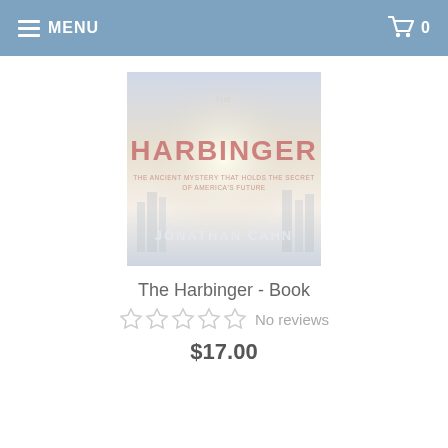MENU  0
[Figure (illustration): Book cover of 'The Harbinger' by Jonathan Cahn. Large pink/red text 'HARBINGER' on a light background with subtitle 'THE ANCIENT MYSTERY THAT HOLDS THE SECRET OF AMERICA'S FUTURE' and author name 'JONATHAN CAHN' at the bottom.]
The Harbinger - Book
☆☆☆☆☆ No reviews
$17.00